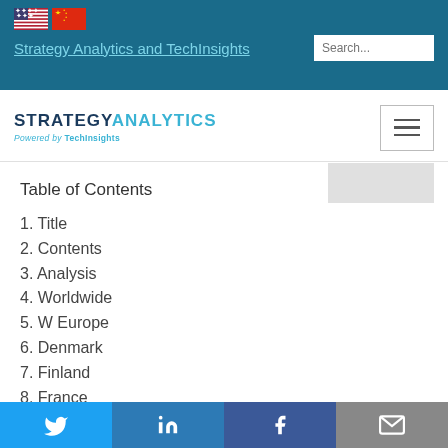Strategy Analytics and TechInsights
[Figure (logo): Strategy Analytics powered by TechInsights logo with hamburger menu button]
Table of Contents
1. Title
2. Contents
3. Analysis
4. Worldwide
5. W Europe
6. Denmark
7. Finland
8. France
9. Germany
10. Italy
Twitter LinkedIn Facebook Email